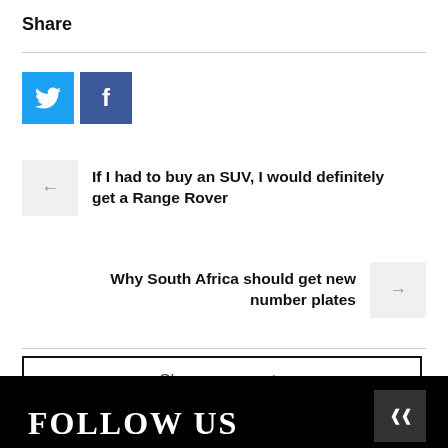Share
[Figure (infographic): Twitter (blue) and Facebook (dark blue) social share buttons]
If I had to buy an SUV, I would definitely get a Range Rover
Why South Africa should get new number plates
Show comments
FOLLOW US